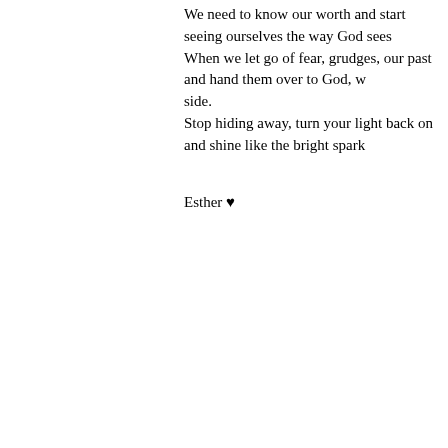We need to know our worth and start seeing ourselves the way God sees us. When we let go of fear, grudges, our past and hand them over to God, w... side. Stop hiding away, turn your light back on and shine like the bright spark...
Esther ♥